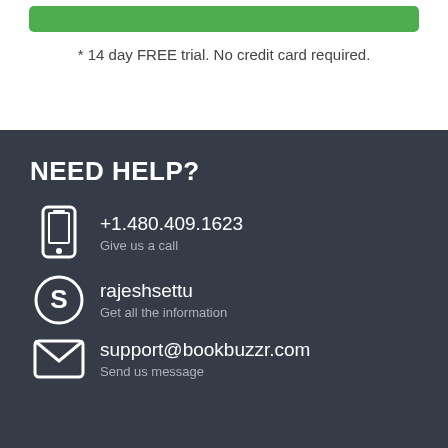[Figure (other): Green button bar at top of page]
* 14 day FREE trial. No credit card required.
NEED HELP?
+1.480.409.1623 Give us a call
rajeshsettu Get all the information
support@bookbuzzr.com Send us message